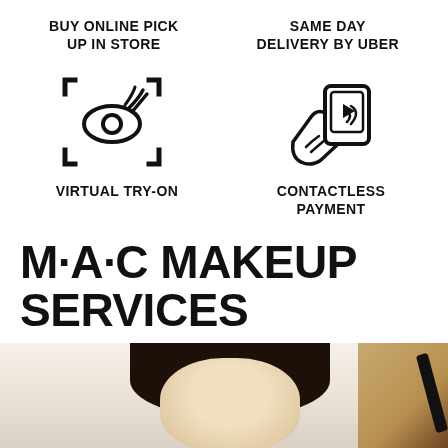BUY ONLINE PICK UP IN STORE
SAME DAY DELIVERY BY UBER
[Figure (illustration): Icon of an eye being scanned with bracket-corner frame overlay, representing virtual try-on feature]
[Figure (illustration): Icon of a hand holding a smartphone with contactless payment signal waves, representing contactless payment]
VIRTUAL TRY-ON
CONTACTLESS PAYMENT
M·A·C MAKEUP SERVICES
[Figure (photo): Photo of a woman's face and hair being styled with a makeup brush or tool applied near the brow area]